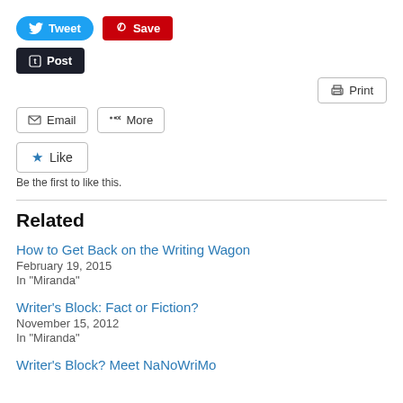[Figure (screenshot): Social sharing buttons: Tweet (blue rounded), Save (red), Post (dark tumblr button), Print (outlined right-aligned), Email (outlined), More (outlined)]
Be the first to like this.
Related
How to Get Back on the Writing Wagon
February 19, 2015
In "Miranda"
Writer's Block: Fact or Fiction?
November 15, 2012
In "Miranda"
Writer's Block? Meet NaNoWriMo